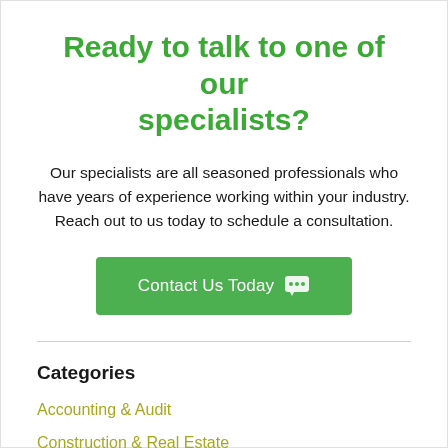Ready to talk to one of our specialists?
Our specialists are all seasoned professionals who have years of experience working within your industry. Reach out to us today to schedule a consultation.
Contact Us Today
Categories
Accounting & Audit
Construction & Real Estate